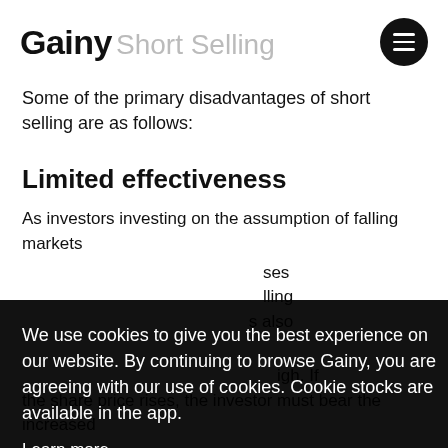Gainy Short Selling
Some of the primary disadvantages of short selling are as follows:
Limited effectiveness
As investors investing on the assumption of falling markets
We use cookies to give you the best experience on our website. By continuing to browse Gainy, you are agreeing with our use of cookies. Cookie stocks are available in the app.
Learn more
Got it!
high. If the share price rises, the investor must bear the increased